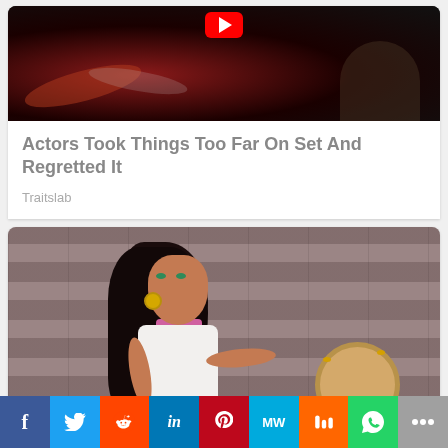[Figure (photo): Dark action scene still from a movie or TV show, with a red/orange play button overlay at top center]
Actors Took Things Too Far On Set And Regretted It
Traitslab
[Figure (illustration): Disney animated character Esmeralda from The Hunchback of Notre Dame, holding a tambourine, in front of a stone wall background]
f  Twitter  Reddit  in  Pinterest  MW  Mix  WhatsApp  Share